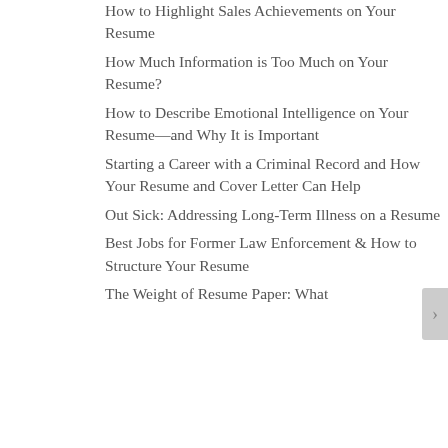How to Highlight Sales Achievements on Your Resume
How Much Information is Too Much on Your Resume?
How to Describe Emotional Intelligence on Your Resume—and Why It is Important
Starting a Career with a Criminal Record and How Your Resume and Cover Letter Can Help
Out Sick: Addressing Long-Term Illness on a Resume
Best Jobs for Former Law Enforcement & How to Structure Your Resume
The Weight of Resume Paper: What